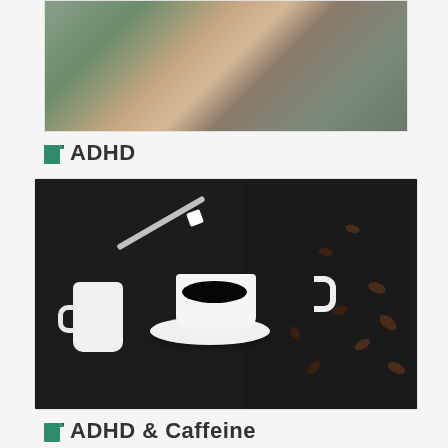[Figure (photo): Children sitting on grass in a circle, cropped to show torsos and hands holding together, wearing colorful clothing]
ADHD
[Figure (photo): A cup of black coffee on a white saucer with scattered coffee beans, a white creamer pitcher, and a spoon with a sugar cube over the cup, all on a dark background]
ADHD & Caffeine